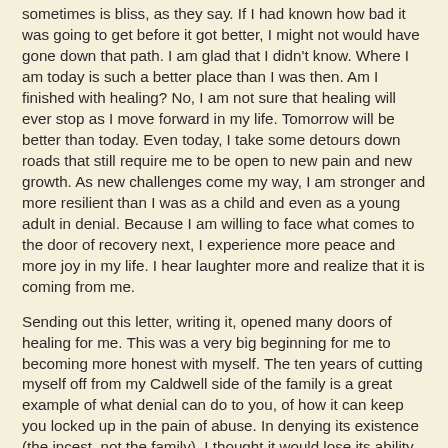sometimes is bliss, as they say. If I had known how bad it was going to get before it got better, I might not would have gone down that path. I am glad that I didn't know. Where I am today is such a better place than I was then. Am I finished with healing? No, I am not sure that healing will ever stop as I move forward in my life. Tomorrow will be better than today. Even today, I take some detours down roads that still require me to be open to new pain and new growth. As new challenges come my way, I am stronger and more resilient than I was as a child and even as a young adult in denial. Because I am willing to face what comes to the door of recovery next, I experience more peace and more joy in my life. I hear laughter more and realize that it is coming from me.
Sending out this letter, writing it, opened many doors of healing for me. This was a very big beginning for me to becoming more honest with myself. The ten years of cutting myself off from my Caldwell side of the family is a great example of what denial can do to you, of how it can keep you locked up in the pain of abuse. In denying its existence (the incest, not the family), I thought it would lose its ability to